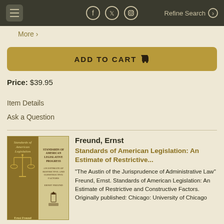More > | Refine Search
More >
ADD TO CART
Price: $39.95
Item Details
Ask a Question
Freund, Ernst
Standards of American Legislation: An Estimate of Restrictive...
"The Austin of the Jurisprudence of Administrative Law" Freund, Ernst. Standards of American Legislation: An Estimate of Restrictive and Constructive Factors. Originally published: Chicago: University of Chicago